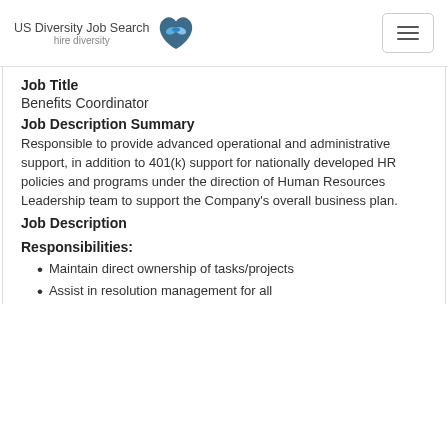US Diversity Job Search hire diversity
Job Title
Benefits Coordinator
Job Description Summary
Responsible to provide advanced operational and administrative support, in addition to 401(k) support for nationally developed HR policies and programs under the direction of Human Resources Leadership team to support the Company's overall business plan.
Job Description
Responsibilities:
Maintain direct ownership of tasks/projects
Assist in resolution management for all